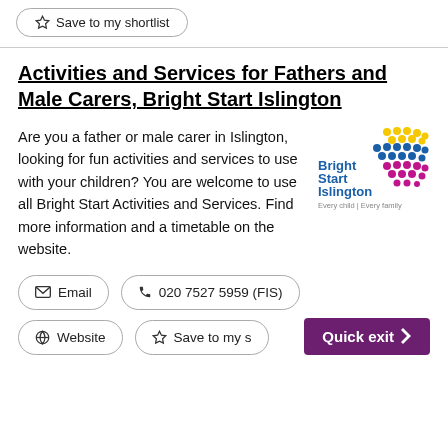☆ Save to my shortlist
Activities and Services for Fathers and Male Carers, Bright Start Islington
Are you a father or male carer in Islington, looking for fun activities and services to use with your children? You are welcome to use all Bright Start Activities and Services. Find more information and a timetable on the website.
[Figure (logo): Bright Start Islington logo with colourful dot pattern and text 'Bright Start Islington Every child | Every family']
✉ Email
📞 020 7527 5959 (FIS)
🔗 Website
☆ Save to my s...
Quick exit >